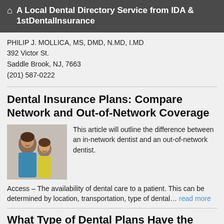A Local Dental Directory Service from IDA & 1stDentalInsurance
PHILIP J. MOLLICA, MS, DMD, N.MD, I.MD
392 Victor St.
Saddle Brook, NJ, 7663
(201) 587-0222
Dental Insurance Plans: Compare Network and Out-of-Network Coverage
[Figure (photo): Photo of a mother and young daughter smiling together]
This article will outline the difference between an in-network dentist and an out-of-network dentist.

Access – The availability of dental care to a patient. This can be determined by location, transportation, type of dental… read more
What Type of Dental Plans Have the Best Benefits?
[Figure (photo): Photo of a couple smiling]